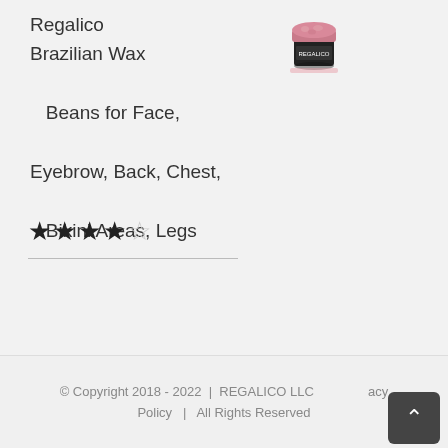Regalico Brazilian Wax Beans for Face, Eyebrow, Back, Chest, Bikini Areas, Legs
[Figure (photo): Product image of Regalico Brazilian Wax Beans container, pink wax with black jar]
★★★★☆ (4 out of 5 stars rating)
© Copyright 2018 - 2022  |  REGALICO LLC  |  Privacy Policy  |  All Rights Reserved